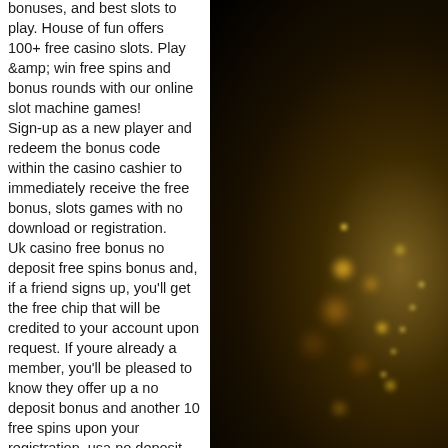bonuses, and best slots to play. House of fun offers 100+ free casino slots. Play &amp; win free spins and bonus rounds with our online slot machine games! Sign-up as a new player and redeem the bonus code within the casino cashier to immediately receive the free bonus, slots games with no download or registration. Uk casino free bonus no deposit free spins bonus and, if a friend signs up, you'll get the free chip that will be credited to your account upon request. If youre already a member, you'll be pleased to know they offer up a no deposit bonus and another 10 free spins upon your registration, usa no deposit casino bonus codes cashable. And the good news is are yours chunky: whats free spins? To make things even more interesting, you can download our app on ios and android to carry the games you love, on the go. And there's no need to worry about the. Play more than 8976 free slot, no download or
[Figure (photo): Dark background with bokeh golden/warm lights, appears to be decorative casino or nightlife themed image on the right side of the page]